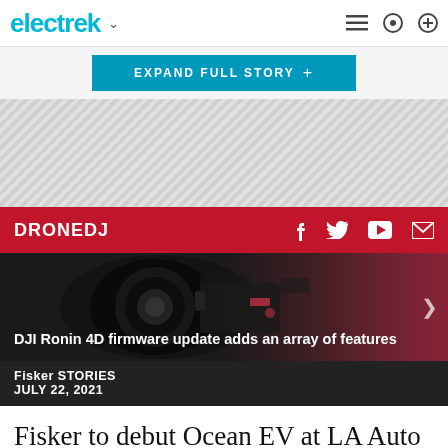electrek
EXPAND FULL STORY +
[Figure (other): Grey hatched advertisement area placeholder]
DRONEDJ
[Figure (photo): DJI Ronin 4D camera hero image with dark and red gradient background]
DJI Ronin 4D firmware update adds an array of features
Fisker STORIES
JULY 22, 2021
Fisker to debut Ocean EV at LA Auto Show, expand global retail presence